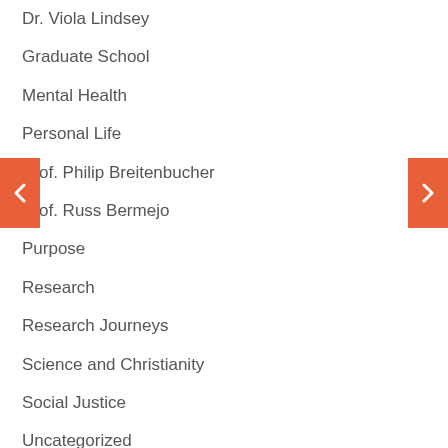Dr. Viola Lindsey
Graduate School
Mental Health
Personal Life
Prof. Philip Breitenbucher
Prof. Russ Bermejo
Purpose
Research
Research Journeys
Science and Christianity
Social Justice
Uncategorized
University Writing Center